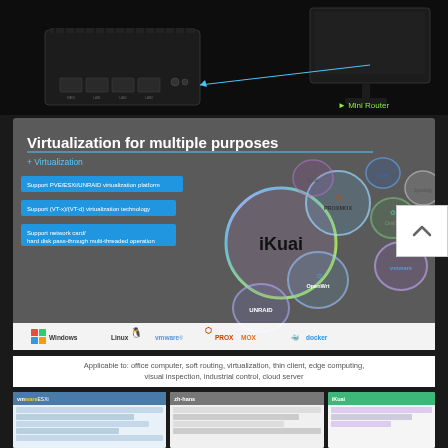[Figure (photo): Mini router device with ethernet ports shown against black background, with arrow pointing to label 'Mini Router']
[Figure (infographic): Virtualization for multiple purposes infographic showing PVE/ESXi/UNRAID, VT-x/VT-d support, and network card/hard disk pass-through. Bubble graphics show logos: iKuai (large center), PROXMOX, OpenWrt, UNRAID, vmware, CentOS, Synology, WinPE, and others. Bottom bar shows Windows, Linux, vmware, PROXMOX, docker logos.]
Applicable to: office computer, soft routing, virtualization, thin client, edge computing, visual inspection, industrial control, cloud server
[Figure (screenshot): vmware ESXi screenshot on left, and iKuai interface screenshot on right]